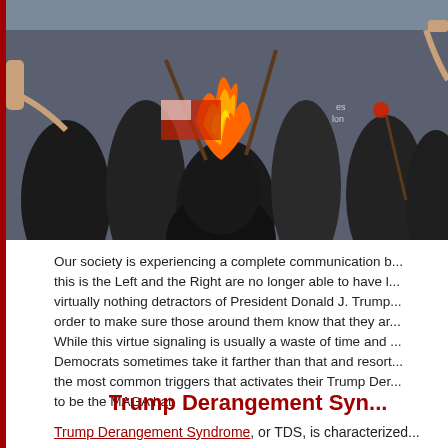[Figure (photo): A group of masked individuals dressed in black, burning a flag at what appears to be a protest. Some hold sticks or torches, one person in the background wears a plaid shirt.]
Our society is experiencing a complete communication b... this is the Left and the Right are no longer able to have l... virtually nothing detractors of President Donald J. Trump... order to make sure those around them know that they ar... While this virtue signaling is usually a waste of time and ... Democrats sometimes take it farther than that and resort... the most common triggers that activates their Trump Der... to be the MAGA hat.
Trump Derangement Syn...
Trump Derangement Syndrome, or TDS, is characterized...